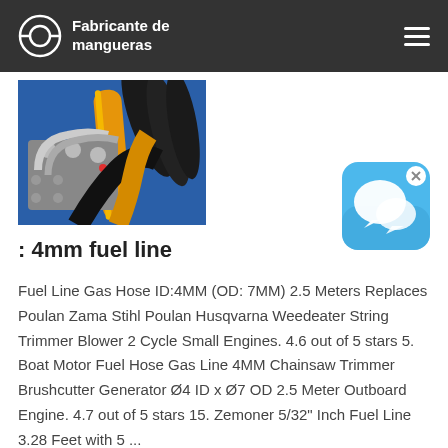Fabricante de mangueras
[Figure (photo): Industrial hydraulic hoses and fittings with blue and yellow wrapped hoses connected to metal fittings on machinery]
[Figure (illustration): Blue chat/messaging app icon with speech bubble, with a small X close button in the top right corner]
: 4mm fuel line
Fuel Line Gas Hose ID:4MM (OD: 7MM) 2.5 Meters Replaces Poulan Zama Stihl Poulan Husqvarna Weedeater String Trimmer Blower 2 Cycle Small Engines. 4.6 out of 5 stars 5. Boat Motor Fuel Hose Gas Line 4MM Chainsaw Trimmer Brushcutter Generator Ø4 ID x Ø7 OD 2.5 Meter Outboard Engine. 4.7 out of 5 stars 15. Zemoner 5/32" Inch Fuel Line 3.28 Feet with 5 ...